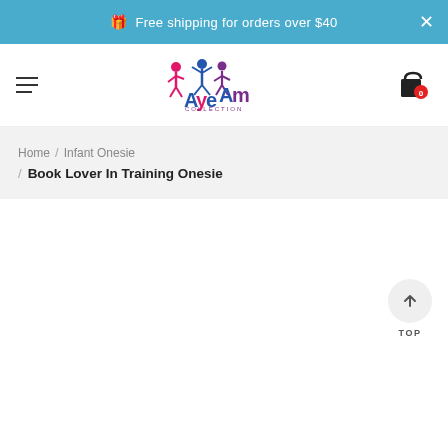Free shipping for orders over $40
[Figure (logo): Aye Am Collection logo with colorful dancing figures]
Home / Infant Onesie / Book Lover In Training Onesie
TOP